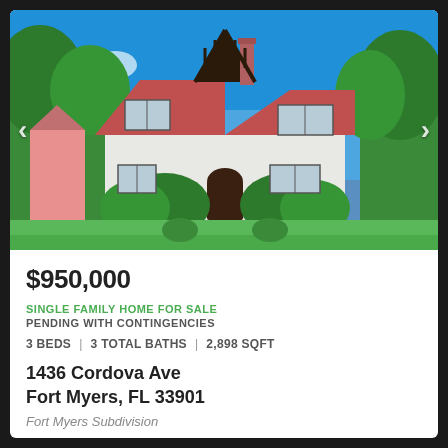[Figure (photo): Exterior photo of a white Tudor-style single family home with red metal roof, dark trim gabling, arched front door, surrounded by green hedges and trees, front lawn visible, clear blue sky]
$950,000
SINGLE FAMILY HOME FOR SALE
PENDING WITH CONTINGENCIES
3 BEDS | 3 TOTAL BATHS | 2,898 SQFT
1436 Cordova Ave
Fort Myers, FL 33901
Fort Myers Subdivision